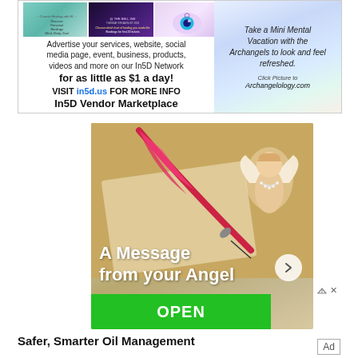[Figure (infographic): Top banner ad for In5D Network Vendor Marketplace showing three thumbnail images (teal healing card, dark purple event poster, eyeball/mystical image) and text promoting advertising services for as little as $1 a day, with a right panel promoting Archangelology.com mini mental vacation.]
[Figure (infographic): Middle advertisement showing an angel figure with a feather quill pen on parchment background, with text 'A Message from your Angel' and a green OPEN button, plus ad control icons in upper right.]
Safer, Smarter Oil Management
[Figure (other): Ad label badge in bottom right corner.]